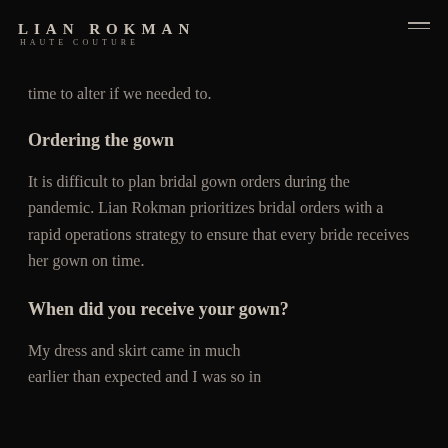LIAN ROKMAN HAUTE COUTURE
time to alter if we needed to.
Ordering the gown
It is difficult to plan bridal gown orders during the pandemic. Lian Rokman prioritizes bridal orders with a rapid operations strategy to ensure that every bride receives her gown on time.
When did you receive your gown?
My dress and skirt came in much earlier than expected and I was so in